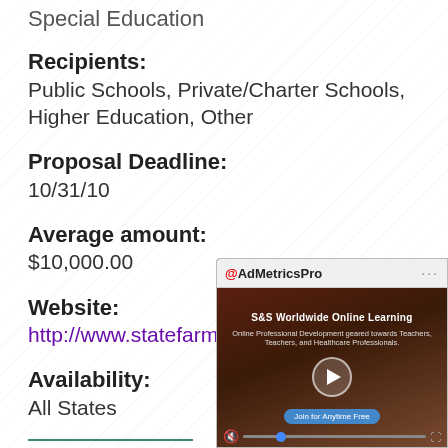Special Education
Recipients:
Public Schools, Private/Charter Schools, Higher Education, Other
Proposal Deadline:
10/31/10
Average amount:
$10,000.00
Website:
http://www.statefarm.com/about/part_spo
Availability:
All States
Grant Name: